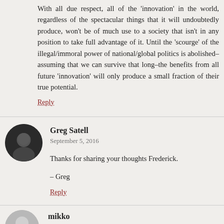With all due respect, all of the ‘innovation’ in the world, regardless of the spectacular things that it will undoubtedly produce, won’t be of much use to a society that isn’t in any position to take full advantage of it. Until the ‘scourge’ of the illegal/immoral power of national/global politics is abolished–assuming that we can survive that long–the benefits from all future ‘innovation’ will only produce a small fraction of their true potential.
Reply
Greg Satell
September 5, 2016
Thanks for sharing your thoughts Frederick.
– Greg
Reply
mikko
September 4, 2016